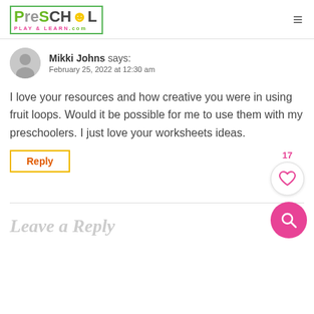PreSchool Play & Learn .com
Mikki Johns says: February 25, 2022 at 12:30 am
I love your resources and how creative you were in using fruit loops. Would it be possible for me to use them with my preschoolers. I just love your worksheets ideas.
Reply
17
Leave a Reply